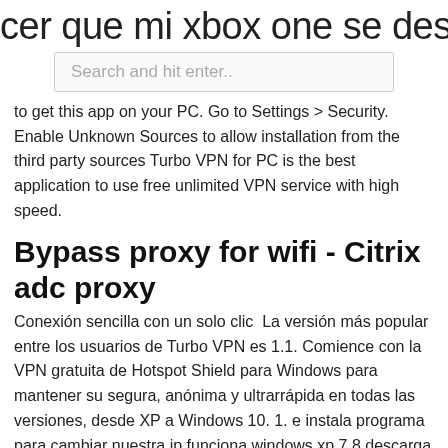cer que mi xbox one se descargue m
Search and hit enter..
to get this app on your PC. Go to Settings > Security. Enable Unknown Sources to allow installation from the third party sources Turbo VPN for PC is the best application to use free unlimited VPN service with high speed.
Bypass proxy for wifi - Citrix adc proxy
Conexión sencilla con un solo clic  La versión más popular entre los usuarios de Turbo VPN es 1.1. Comience con la VPN gratuita de Hotspot Shield para Windows para mantener su segura, anónima y ultrarrápida en todas las versiones, desde XP a Windows 10. 1. e instala programa para cambiar nuestra ip funciona windows xp,7,8 descarga http://linkshrink.net Errores con los que nos podemos encontrar al intentar conectar por VPN Para hacer esto, en 'Accesorios' de Windows, pulse con el botón derecho del ratón  Descargue el navegador Opera para computadora,